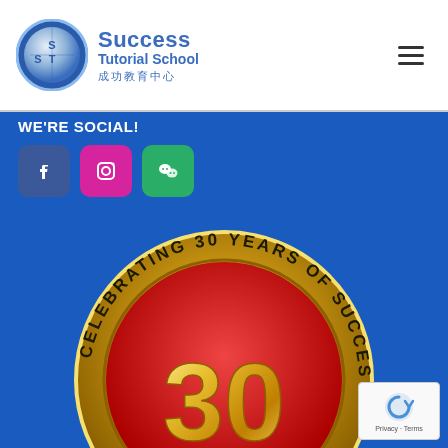[Figure (logo): Success Tutorial School logo: circular STS emblem in blue/silver with text 'Success Tutorial School' and Chinese characters '成功教育中心']
WE'RE SOCIAL!
[Figure (infographic): Three social media icons: Facebook (blue), Instagram (pink/magenta), WeChat (green)]
[Figure (illustration): Anniversary badge: gold circle on blue background with text 'CELEBRATING 30 YEARS OF SUCCESS' around the rim and large '30' in gold/red with 'TH' below]